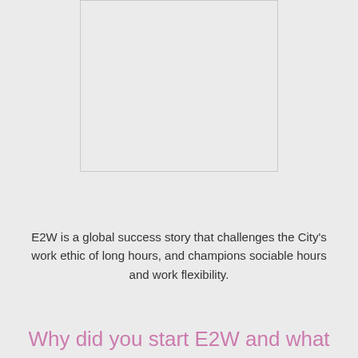[Figure (photo): Blank/placeholder image box with light grey fill and border]
E2W is a global success story that challenges the City's work ethic of long hours, and champions sociable hours and work flexibility.
Why did you start E2W and what is